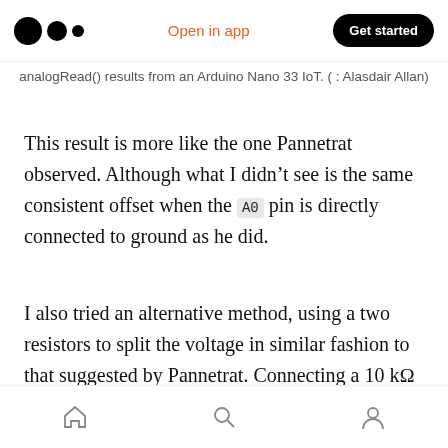Open in app | Get started
analogRead() results from an Arduino Nano 33 IoT. ( : Alasdair Allan)
This result is more like the one Pannetrat observed. Although what I didn't see is the same consistent offset when the A0 pin is directly connected to ground as he did.
I also tried an alternative method, using a two resistors to split the voltage in similar fashion to that suggested by Pannetrat. Connecting a 10 kΩ resistor between the GND and A0 pins, and a second 10 kΩ resistor between the VCC and A0
Home | Search | Profile